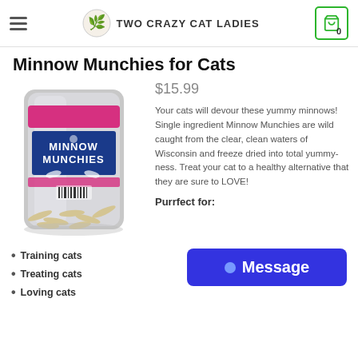TWO CRAZY CAT LADIES
Minnow Munchies for Cats
[Figure (photo): Product photo of a silver resealable pouch with pink and blue label reading 'Minnow Munchies', filled with freeze-dried minnows visible at the bottom.]
$15.99
Your cats will devour these yummy minnows! Single ingredient Minnow Munchies are wild caught from the clear, clean waters of Wisconsin and freeze dried into total yummy-ness. Treat your cat to a healthy alternative that they are sure to LOVE!
Purrfect for:
Training cats
Treating cats
Loving cats